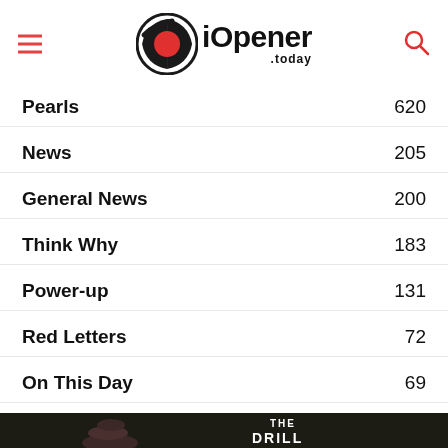iOpener.today
Pearls 620
News 205
General News 200
Think Why 183
Power-up 131
Red Letters 72
On This Day 69
[Figure (photo): Dark background photo of stacked stones with 'THE DRILL' logo text overlay in white]